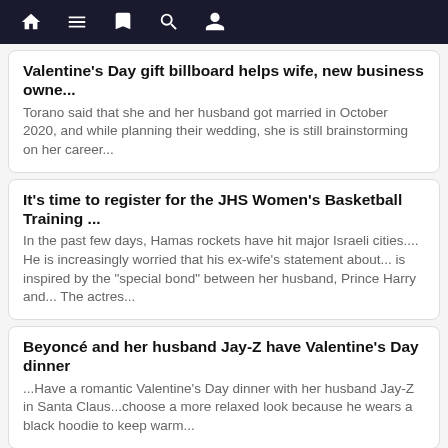[navigation bar with home, menu, book, search, profile icons]
Valentine's Day gift billboard helps wife, new business owne...
Torano said that she and her husband got married in October 2020, and while planning their wedding, she is still brainstorming on her career...
It's time to register for the JHS Women's Basketball Training ...
In the past few days, Hamas rockets have hit major Israeli cities.... He is increasingly worried that his ex-wife's statement about... is inspired by the "special bond" between her husband, Prince Harry and... The actres...
Beyoncé and her husband Jay-Z have Valentine's Day dinner
...Have a romantic Valentine's Day dinner with her husband Jay-Z in Santa Claus...choose a more relaxed look because he wears a black hoodie to keep warm...
49 Valentine's Day gifts to surprise your significant other
Promising comment: "Ordered these for my husband on Valentine's Day....Promising comment (female): "Gift for my wife, she likes prints and...
service@amthing.com